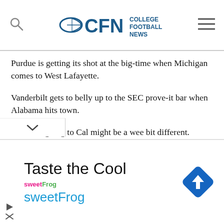CFN College Football News
Purdue is getting its shot at the big-time when Michigan comes to West Lafayette.
Vanderbilt gets to belly up to the SEC prove-it bar when Alabama hits town.
But USC going to Cal might be a wee bit different.
After so many years of mediocrity, all of a sudden, Cal is starting to look the part under new head coach Justin Wilcox. The Bears are starting to play a little defense and the offense has been clutch and tough in the two wins against Power Five conferences.
[Figure (other): Advertisement banner for sweetFrog frozen yogurt with tagline 'Taste the Cool']